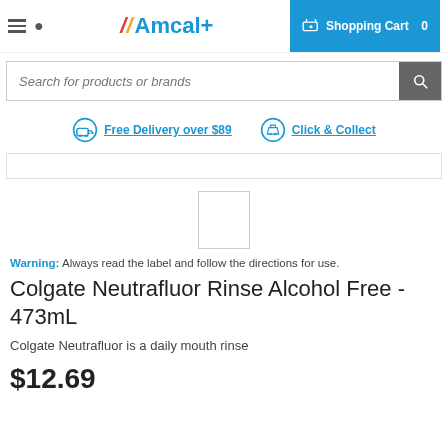Amcal+ | Shopping Cart 0
Search for products or brands
Free Delivery over $89 | Click & Collect
Warning: Always read the label and follow the directions for use.
Colgate Neutrafluor Rinse Alcohol Free - 473mL
Colgate Neutrafluor is a daily mouth rinse
$12.69